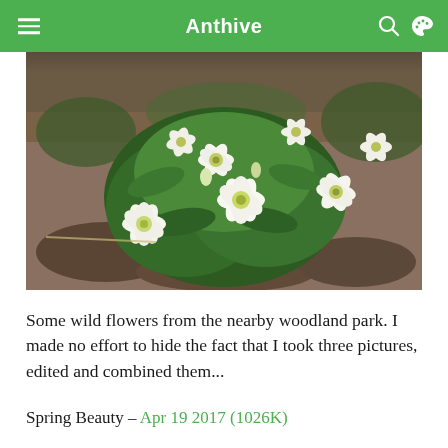Anthive
[Figure (photo): White wildflowers with yellow centers growing from a dark soil garden bed with dense green foliage, a composite of three photos from a nearby woodland park.]
Some wild flowers from the nearby woodland park. I made no effort to hide the fact that I took three pictures, edited and combined them...
Spring Beauty – Apr 19 2017 (1026K)